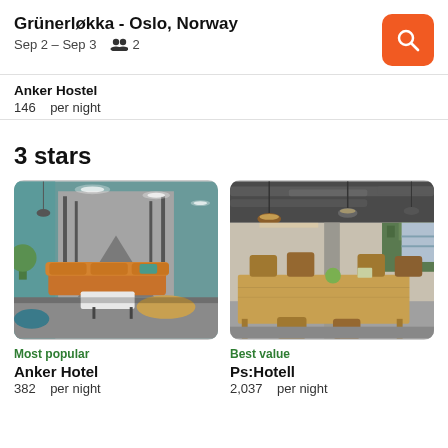Grünerløkka - Oslo, Norway
Sep 2 – Sep 3   👥 2
Anker Hostel
146   per night
3 stars
[Figure (photo): Hotel lobby with orange sofa, mural wall art of a road through trees, circular ceiling lights, teal accent wall and round coffee table]
Most popular
Anker Hotel
382   per night
[Figure (photo): Modern open-plan cafe or co-working space with wooden tables, chairs, exposed ductwork ceiling, pendant lights and plants]
Best value
Ps:Hotell
2,037   per night